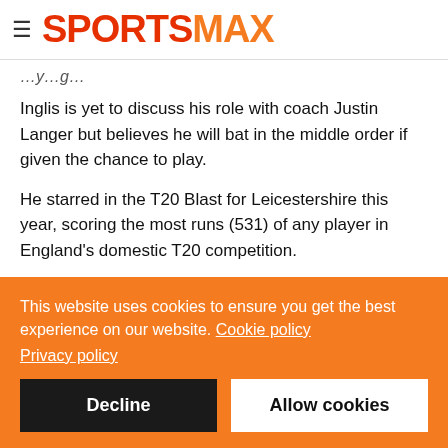SPORTSMAX
Inglis is yet to discuss his role with coach Justin Langer but believes he will bat in the middle order if given the chance to play.
He starred in the T20 Blast for Leicestershire this year, scoring the most runs (531) of any player in England's domestic T20 competition.
Per Stats Perform data, Inglis scored a boundary once every 3.5
This website uses cookies to ensure you get the best experience on our website. Cookie policy
Privacy policy
Decline
Allow cookies